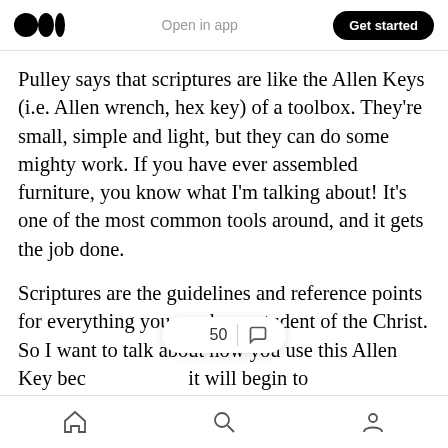Open in app | Get started
Pulley says that scriptures are like the Allen Keys (i.e. Allen wrench, hex key) of a toolbox. They’re small, simple and light, but they can do some mighty work. If you have ever assembled furniture, you know what I’m talking about! It’s one of the most common tools around, and it gets the job done.
Scriptures are the guidelines and reference points for everything you need as a student of the Christ. So I want to talk about how you use this Allen Key bec 👏 50  it will begin to unlock or clear up your hearing so that you will
Home | Search | Profile